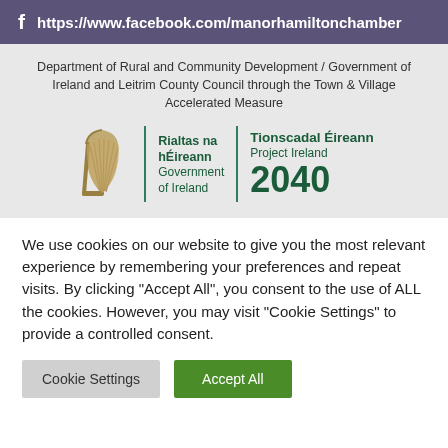https://www.facebook.com/manorhamilton chamber
Department of Rural and Community Development / Government of Ireland and Leitrim County Council through the Town & Village Accelerated Measure
[Figure (logo): Government of Ireland / Project Ireland 2040 logo with Irish harp, Rialtas na hÉireann Government of Ireland text, and Tionscadal Éireann Project Ireland 2040 text]
We use cookies on our website to give you the most relevant experience by remembering your preferences and repeat visits. By clicking "Accept All", you consent to the use of ALL the cookies. However, you may visit "Cookie Settings" to provide a controlled consent.